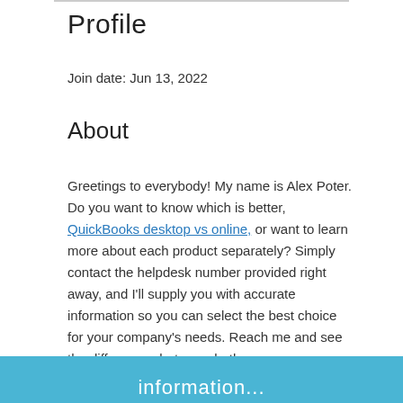Profile
Join date: Jun 13, 2022
About
Greetings to everybody! My name is Alex Poter. Do you want to know which is better, QuickBooks desktop vs online, or want to learn more about each product separately? Simply contact the helpdesk number provided right away, and I'll supply you with accurate information so you can select the best choice for your company's needs. Reach me and see the differences between both.
Information...